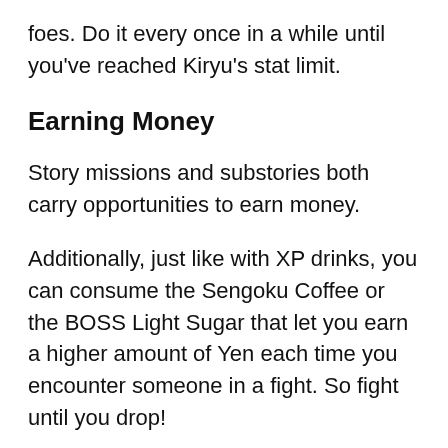foes. Do it every once in a while until you've reached Kiryu's stat limit.
Earning Money
Story missions and substories both carry opportunities to earn money.
Additionally, just like with XP drinks, you can consume the Sengoku Coffee or the BOSS Light Sugar that let you earn a higher amount of Yen each time you encounter someone in a fight. So fight until you drop!
For something a little less violent, you can choose to attend a mini-game especially one